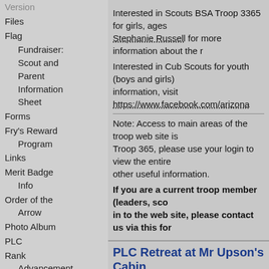Version
Files
Flag
Fundraiser: Scout and Parent Information Sheet
Forms
Fry's Reward Program
Links
Merit Badge Info
Order of the Arrow
Photo Album
PLC
Rank Advancement
Summer High Adventure
Training - Adult
Interested in Scouts BSA Troop 3365 for girls, ages... Stephanie Russell for more information about the r...
Interested in Cub Scouts for youth (boys and girls)... information, visit https://www.facebook.com/arizona...
Note: Access to main areas of the troop web site is... Troop 365, please use your login to view the entire... other useful information.
If you are a current troop member (leaders, sco... in to the web site, please contact us via this for...
PLC Retreat at Mr Upson's Cabin
Posted on Aug 1 2022 - 8:16pm
This year's PLC retreat will be August 26th to 28th... planning out the coming year's calendar, next year'... also be planning our objectives for our weekly mee... are welcome to attend this weekend and there is n... food for the outing (Scouts will cook their own pizza... Saturday night)